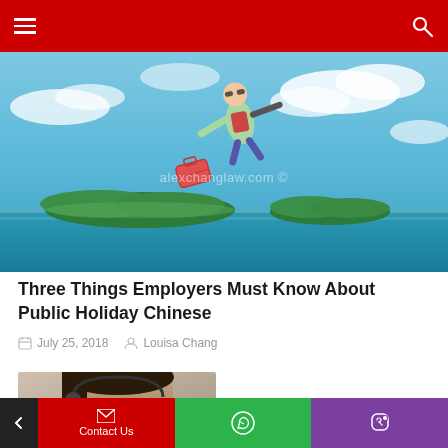Navigation bar with hamburger menu and search icon
[Figure (photo): Skydiver with sunglasses and backpack flying over tropical island with blue sky and water. Watermark reads 'alexchanglaw.com ©']
Three Things Employers Must Know About Public Holiday Chinese
July 25, 2018  Louisa Chang
[Figure (photo): Close-up photo of a woman with headset, partial view]
Contact Us  (WhatsApp icon)  (Viber icon)